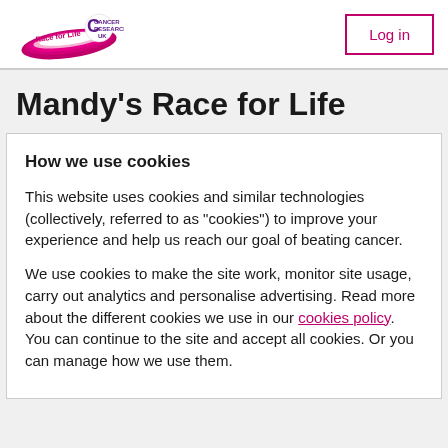Race for Life | Cancer Research UK — Log in
Mandy's Race for Life
How we use cookies
This website uses cookies and similar technologies (collectively, referred to as "cookies") to improve your experience and help us reach our goal of beating cancer.
We use cookies to make the site work, monitor site usage, carry out analytics and personalise advertising. Read more about the different cookies we use in our cookies policy. You can continue to the site and accept all cookies. Or you can manage how we use them.